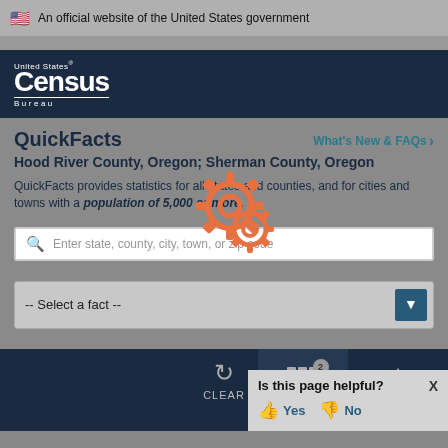🇺🇸 An official website of the United States government
[Figure (logo): United States Census Bureau logo, white text on dark navy background]
QuickFacts
Hood River County, Oregon; Sherman County, Oregon
QuickFacts provides statistics for all states and counties, and for cities and towns with a population of 5,000 or more.
[Figure (illustration): Two orange gear/cog icons overlay illustration]
Enter state, county, city, town, or zip code
-- Select a fact --
CLEAR
TABLE
MORE
Is this page helpful? Yes No